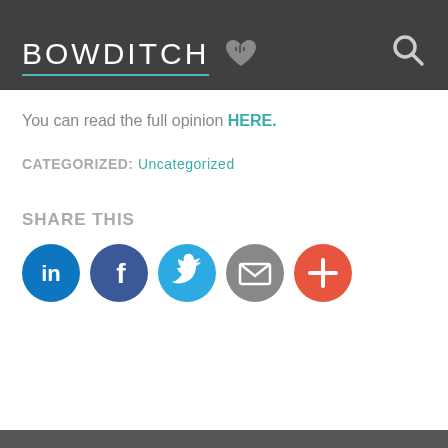BOWDITCH
You can read the full opinion HERE.
CATEGORIZED: Uncategorized
SHARE THIS
[Figure (infographic): Social share buttons: LinkedIn (blue circle), Facebook (dark blue circle), Twitter (light blue circle), Email (grey circle), More/Plus (orange-red circle)]